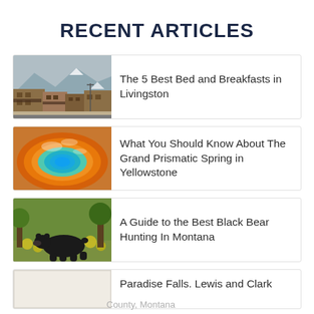RECENT ARTICLES
The 5 Best Bed and Breakfasts in Livingston
What You Should Know About The Grand Prismatic Spring in Yellowstone
A Guide to the Best Black Bear Hunting In Montana
Paradise Falls. Lewis and Clark County, Montana